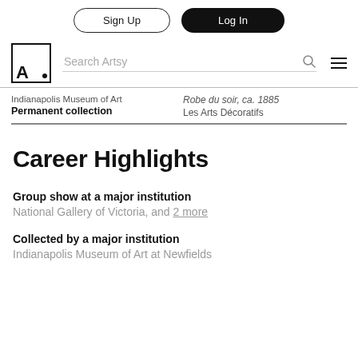Sign Up | Log In
[Figure (logo): Artsy logo — letter A in a square, with search bar, magnifying glass icon, and hamburger menu]
Indianapolis Museum of Art
Permanent collection
Robe du soir, ca. 1885
Les Arts Décoratifs
Career Highlights
Group show at a major institution
National Gallery of Victoria, and 2 more
Collected by a major institution
Indianapolis Museum of Art at Newfields